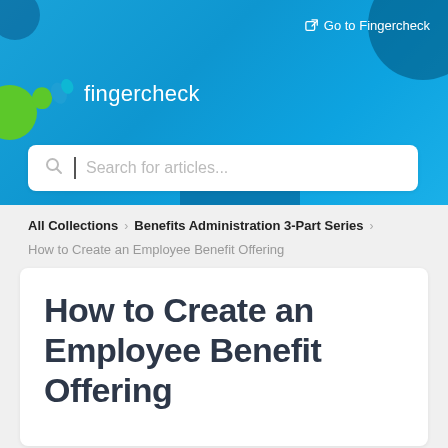[Figure (logo): Fingercheck logo with green oval and blue teardrop icon beside white 'fingercheck' wordmark on blue background header]
Go to Fingercheck
Search for articles...
All Collections > Benefits Administration 3-Part Series >
How to Create an Employee Benefit Offering
How to Create an Employee Benefit Offering